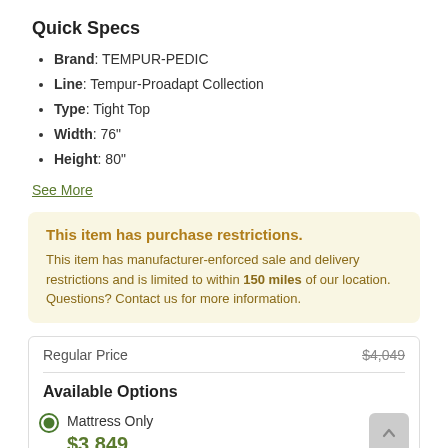Quick Specs
Brand: TEMPUR-PEDIC
Line: Tempur-Proadapt Collection
Type: Tight Top
Width: 76"
Height: 80"
See More
This item has purchase restrictions. This item has manufacturer-enforced sale and delivery restrictions and is limited to within 150 miles of our location. Questions? Contact us for more information.
|  |  |
| --- | --- |
| Regular Price | $4,049 |
| Available Options |  |
| Mattress Only | $3,849 |